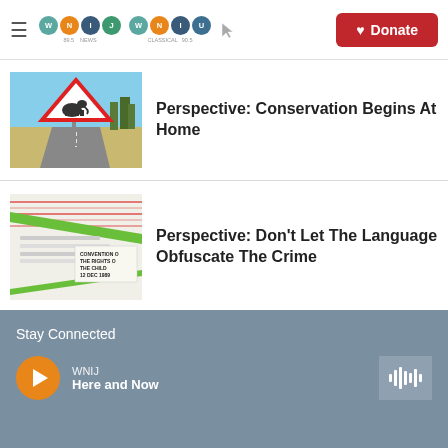WNIJ NEWS 89.5 | WNIU CLASSICAL 90.5 | Donate
[Figure (photo): Wildlife warning road sign showing elephant silhouette inside red triangle, set against an African savanna road]
Perspective: Conservation Begins At Home
[Figure (photo): Document image with green diagonal stripes and text reading 'Convention on the Rights of the Child 12 Dec 1989']
Perspective: Don't Let The Language Obfuscate The Crime
Stay Connected
WNIJ
Here and Now